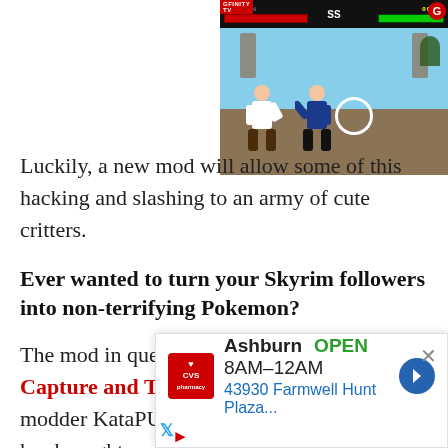[Figure (screenshot): Video game screenshot showing two fighters in a martial arts game with HUD elements (health bars, score) at top. A white circle highlight is visible on one of the fighters. The GFINITY TV branding is visible.]
Luckily, a new mod will allow some of this hacking and slashing to an army of cute critters.
Ever wanted to turn your Skyrim followers into non-terrifying Pokemon?
The mod in question is called 'SuMon - Capture and Train' and is the work of modder KataPUMB, whose previous work has brought psychic
powe
Wabt
[Figure (screenshot): Advertisement overlay for CVS Pharmacy showing Ashburn location, OPEN 8AM-12AM, 43930 Farmwell Hunt Plaza...]
[Figure (other): Share button overlay (dark background with share icon)]